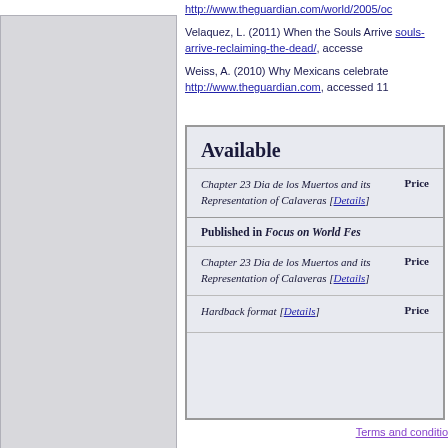http://www.theguardian.com/world/2005/oc
Velaquez, L. (2011) When the Souls Arrive souls-arrive-reclaiming-the-dead/, accesse
Weiss, A. (2010) Why Mexicans celebrate http://www.theguardian.com, accessed 11
Available
Chapter 23 Dia de los Muertos and its Representation of Calaveras [Details]
Price
Published in Focus on World Fes
Chapter 23 Dia de los Muertos and its Representation of Calaveras [Details]
Price
Hardback format [Details]
Price
Terms and conditio